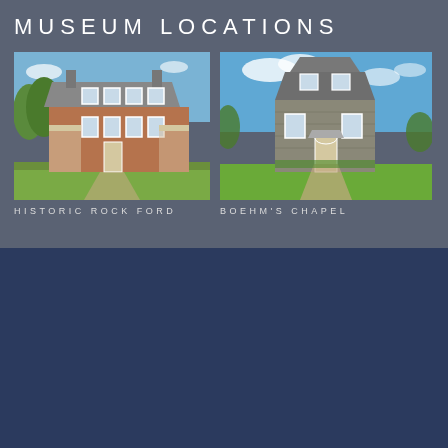MUSEUM LOCATIONS
[Figure (photo): Historic Rock Ford - a brick colonial-style building with white trim, porches, and trees in background]
HISTORIC ROCK FORD
[Figure (photo): Boehm's Chapel - a stone building with gambrel roof, white door and windows, green lawn in foreground]
BOEHM'S CHAPEL
FIND US ON FACEBOOK
CONTACT
For information ab... Lancaster, email info@lancastercou...
For information or... please contact the...